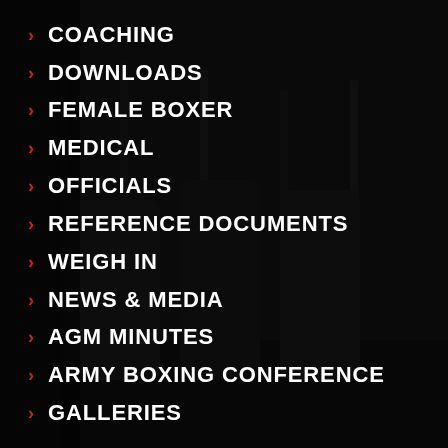COACHING
DOWNLOADS
FEMALE BOXER
MEDICAL
OFFICIALS
REFERENCE DOCUMENTS
WEIGH IN
NEWS & MEDIA
AGM MINUTES
ARMY BOXING CONFERENCE
GALLERIES